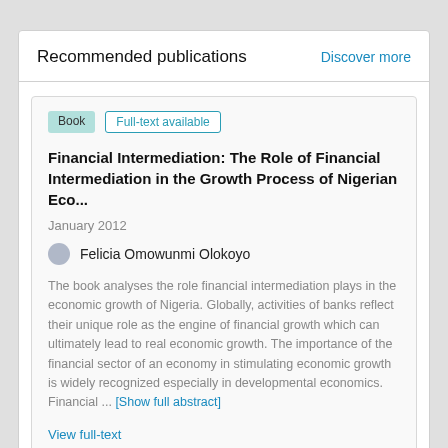Recommended publications
Discover more
Book
Full-text available
Financial Intermediation: The Role of Financial Intermediation in the Growth Process of Nigerian Eco...
January 2012
Felicia Omowunmi Olokoyo
The book analyses the role financial intermediation plays in the economic growth of Nigeria. Globally, activities of banks reflect their unique role as the engine of financial growth which can ultimately lead to real economic growth. The importance of the financial sector of an economy in stimulating economic growth is widely recognized especially in developmental economics. Financial ... [Show full abstract]
View full-text